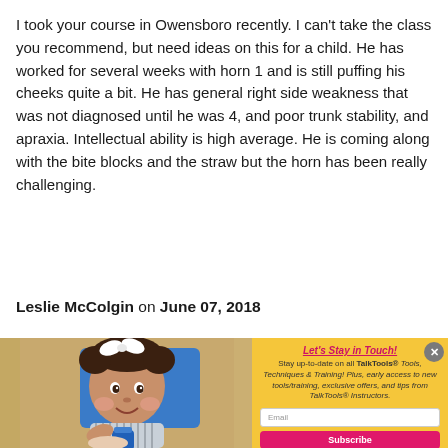I took your course in Owensboro recently. I can't take the class you recommend, but need ideas on this for a child. He has worked for several weeks with horn 1 and is still puffing his cheeks quite a bit. He has general right side weakness that was not diagnosed until he was 4, and poor trunk stability, and apraxia. Intellectual ability is high average. He is coming along with the bite blocks and the straw but the horn has been really challenging.
Leslie McColgin on June 07, 2018
[Figure (photo): Photo of a young baby/toddler with curly hair and a white bow, sitting in a blue high chair, smiling and holding a blue cup]
Let's Stay in Touch! Stay up-to-date on all TalkTools® Tools, Techniques & Training! Plus, early access to new tools/training, exclusive offers, and tips from TalkTools® Instructors. Email Subscribe